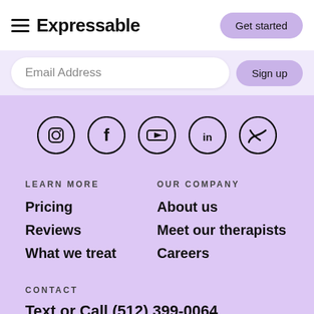Expressable — Get started
Email Address — Sign up
[Figure (infographic): Row of 5 social media icons in circles: Instagram, Facebook, YouTube, LinkedIn, Twitter/X]
LEARN MORE
Pricing
Reviews
What we treat
OUR COMPANY
About us
Meet our therapists
Careers
CONTACT
Text or Call (512) 399-0064